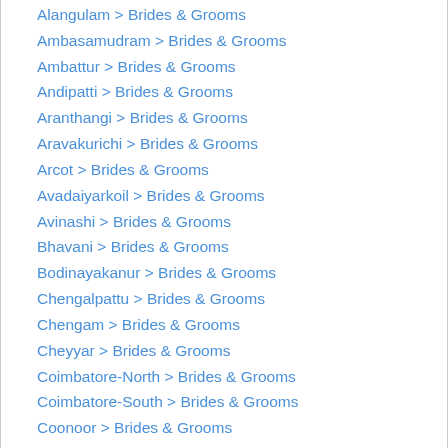Alangulam > Brides & Grooms
Ambasamudram > Brides & Grooms
Ambattur > Brides & Grooms
Andipatti > Brides & Grooms
Aranthangi > Brides & Grooms
Aravakurichi > Brides & Grooms
Arcot > Brides & Grooms
Avadaiyarkoil > Brides & Grooms
Avinashi > Brides & Grooms
Bhavani > Brides & Grooms
Bodinayakanur > Brides & Grooms
Chengalpattu > Brides & Grooms
Chengam > Brides & Grooms
Cheyyar > Brides & Grooms
Coimbatore-North > Brides & Grooms
Coimbatore-South > Brides & Grooms
Coonoor > Brides & Grooms
D.P Palayam > Brides & Grooms
Denkanikottai > Brides & Grooms
Devakottai > Brides & Grooms
Edapady > Brides & Grooms
Ettayapuram > Brides & Grooms
Gandarvakottai > Brides & Grooms